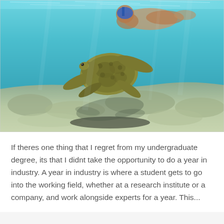[Figure (photo): Underwater photo of a sea turtle swimming near the sandy ocean floor, with a snorkeler visible in the background above. Clear turquoise water with sunlight filtering through.]
If theres one thing that I regret from my undergraduate degree, its that I didnt take the opportunity to do a year in industry. A year in industry is where a student gets to go into the working field, whether at a research institute or a company, and work alongside experts for a year. This...